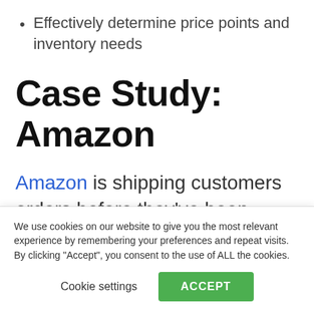Effectively determine price points and inventory needs
Case Study: Amazon
Amazon is shipping customers orders before they've been placed. Their newly patented “Anticipatory Shipping” uses a
We use cookies on our website to give you the most relevant experience by remembering your preferences and repeat visits. By clicking “Accept”, you consent to the use of ALL the cookies.